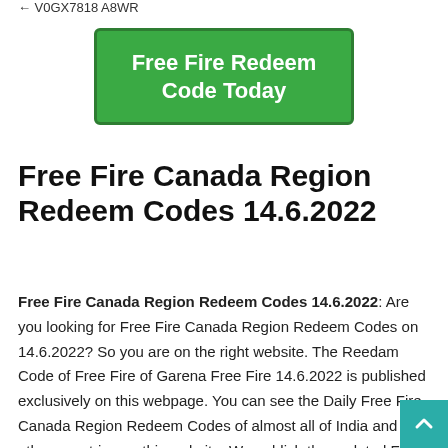V0GX7818 A8WR
[Figure (other): Green button with white bold text reading 'Free Fire Redeem Code Today']
Free Fire Canada Region Redeem Codes 14.6.2022
Free Fire Canada Region Redeem Codes 14.6.2022: Are you looking for Free Fire Canada Region Redeem Codes on 14.6.2022? So you are on the right website. The Reedam Code of Free Fire of Garena Free Fire 14.6.2022 is published exclusively on this webpage. You can see the Daily Free Fire Canada Region Redeem Codes of almost all of India and other countries on this website. We publish the updated Free Fire Canada Region Redeem Codes daily here. You can find Free Fire Canada Region Redeem Codes 14 June 2022 here. The Redeem Codes of the Garena Free Fire June 2022 are above. You can just check it or Redeem Codes